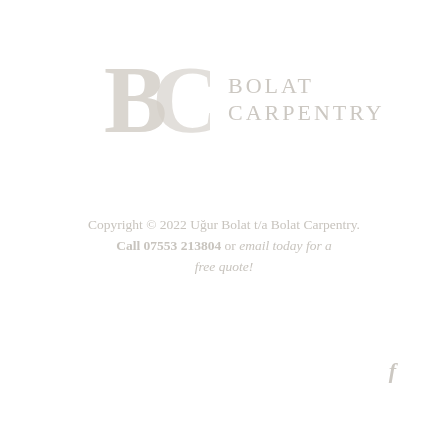[Figure (logo): Bolat Carpentry logo: stylized BC lettermark in wood-grain tan/grey on left, and text 'BOLAT CARPENTRY' in spaced serif letters on right, all rendered in light grey/cream tones]
Copyright © 2022 Uğur Bolat t/a Bolat Carpentry.
Call 07553 213804 or email today for a free quote!
[Figure (other): Facebook 'f' icon in light grey]